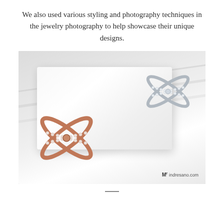We also used various styling and photography techniques in the jewelry photography to help showcase their unique designs.
[Figure (photo): Photograph of two diamond-encrusted X-shaped rings on a white marble surface. One ring is silver (top right) and one is rose gold (bottom left), both featuring pavé-set diamonds along their bands. The image is watermarked with 'indresano.com' in the bottom right corner.]